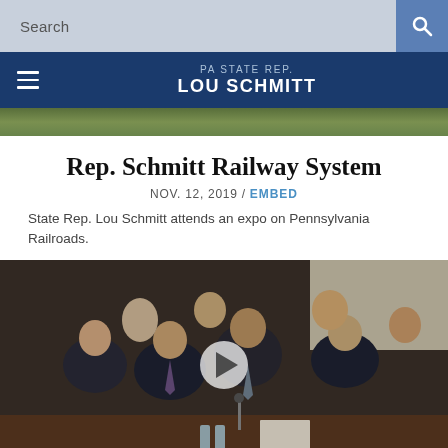Search
PA STATE REP. LOU SCHMITT
[Figure (photo): Hero image strip with outdoor foliage scene]
Rep. Schmitt Railway System
NOV. 12, 2019 / EMBED
State Rep. Lou Schmitt attends an expo on Pennsylvania Railroads.
[Figure (screenshot): Video thumbnail showing men in suits seated at a hearing table, with a play button overlay in the center]